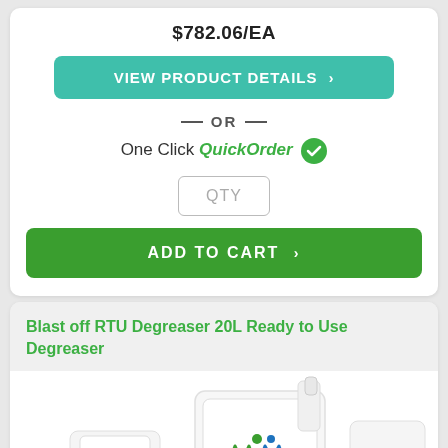$782.06/EA
VIEW PRODUCT DETAILS ›
— OR —
One Click QuickOrder ✅
QTY
ADD TO CART ›
Blast off RTU Degreaser 20L Ready to Use Degreaser
[Figure (photo): White 20L container of Blast off RTU Degreaser with a green and blue logo, partially visible at the bottom of the page.]